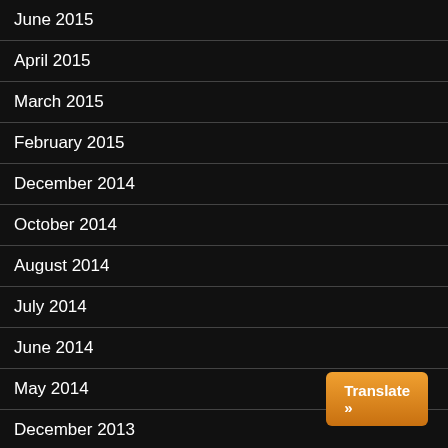June 2015
April 2015
March 2015
February 2015
December 2014
October 2014
August 2014
July 2014
June 2014
May 2014
December 2013
November 2013
October 2013